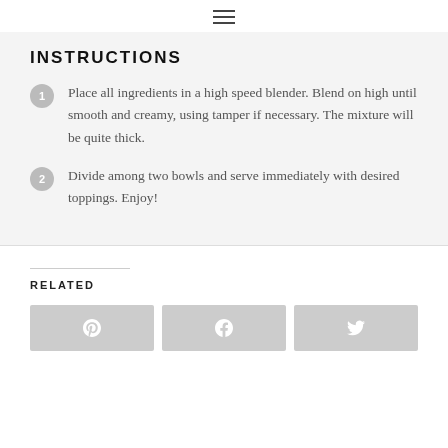☰ (hamburger menu icon)
INSTRUCTIONS
1. Place all ingredients in a high speed blender. Blend on high until smooth and creamy, using tamper if necessary. The mixture will be quite thick.
2. Divide among two bowls and serve immediately with desired toppings. Enjoy!
RELATED
[Figure (other): Social share buttons: Pinterest, Facebook, Twitter]